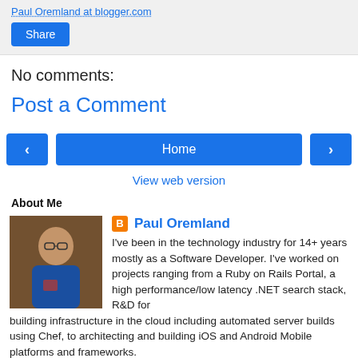Paul Oremland at blogger.com
Share
No comments:
Post a Comment
< Home >
View web version
About Me
[Figure (photo): Profile photo of Paul Oremland, a person wearing glasses and a blue shirt]
Paul Oremland
I've been in the technology industry for 14+ years mostly as a Software Developer. I've worked on projects ranging from a Ruby on Rails Portal, a high performance/low latency .NET search stack, R&D for building infrastructure in the cloud including automated server builds using Chef, to architecting and building iOS and Android Mobile platforms and frameworks.